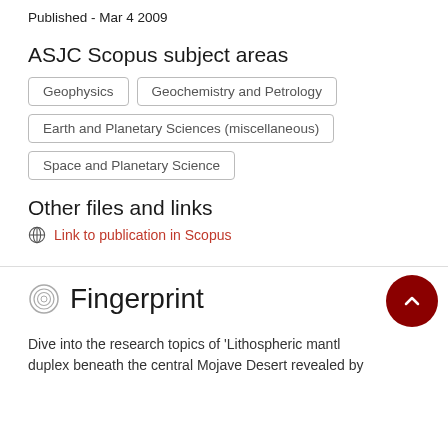Published - Mar 4 2009
ASJC Scopus subject areas
Geophysics
Geochemistry and Petrology
Earth and Planetary Sciences (miscellaneous)
Space and Planetary Science
Other files and links
Link to publication in Scopus
Fingerprint
Dive into the research topics of 'Lithospheric mantle duplex beneath the central Mojave Desert revealed by